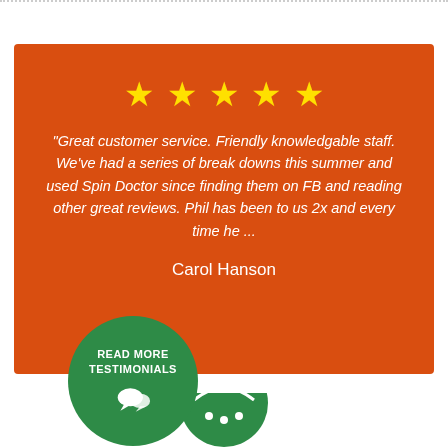[Figure (infographic): Customer testimonial card on orange background with 5 yellow stars, review text from Carol Hanson, and a green circular button reading 'READ MORE TESTIMONIALS' with a chat icon. Below is a partial green logo circle at the bottom.]